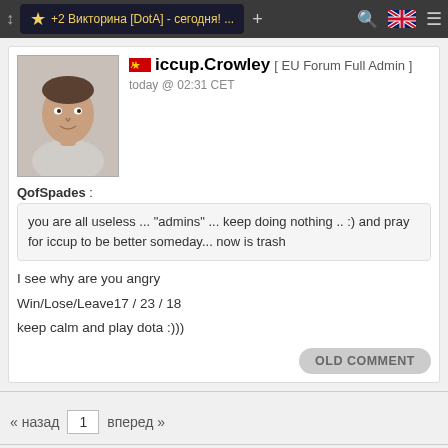+2 Викторина [DotA] - сегодня! ...
iccup.Crowley [ EU Forum Full Admin ] today @ 02:31 CET
[Figure (photo): Avatar photo of a young man in a grey shirt]
QofSpades :
you are all useless ... "admins" ... keep doing nothing .. :) and pray for iccup to be better someday... now is trash
I see why are you angry
Win/Lose/Leave17 / 23 / 18
keep calm and play dota :)))
OLD COMMENT
« назад  1  вперед »
Locked Topic